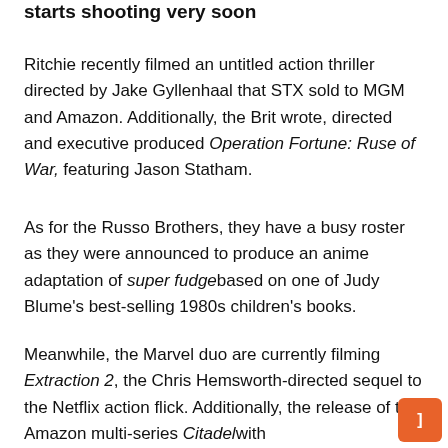starts shooting very soon
Ritchie recently filmed an untitled action thriller directed by Jake Gyllenhaal that STX sold to MGM and Amazon. Additionally, the Brit wrote, directed and executive produced Operation Fortune: Ruse of War, featuring Jason Statham.
As for the Russo Brothers, they have a busy roster as they were announced to produce an anime adaptation of super fudge based on one of Judy Blume’s best-selling 1980s children’s books.
Meanwhile, the Marvel duo are currently filming Extraction 2, the Chris Hemsworth-directed sequel to the Netflix action flick. Additionally, the release of the Amazon multi-series Citadel with